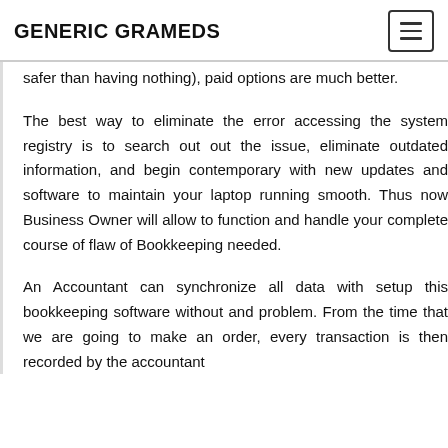GENERIC GRAMEDS
safer than having nothing), paid options are much better.
The best way to eliminate the error accessing the system registry is to search out out the issue, eliminate outdated information, and begin contemporary with new updates and software to maintain your laptop running smooth. Thus now Business Owner will allow to function and handle your complete course of flaw of Bookkeeping needed.
An Accountant can synchronize all data with setup this bookkeeping software without and problem. From the time that we are going to make an order, every transaction is then recorded by the accountant